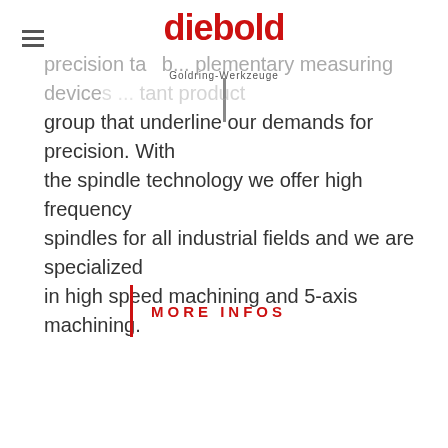diebold Goldring-Werkzeuge
precision tap... complementary measuring devices ... tant product group that underline our demands for precision. With the spindle technology we offer high frequency spindles for all industrial fields and we are specialized in high speed machining and 5-axis machining.
MORE INFOS